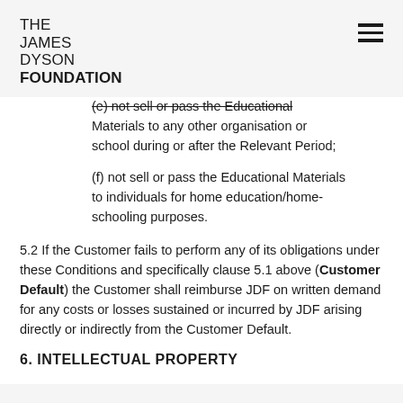THE JAMES DYSON FOUNDATION
(e) not sell or pass the Educational Materials to any other organisation or school during or after the Relevant Period;
(f) not sell or pass the Educational Materials to individuals for home education/home-schooling purposes.
5.2 If the Customer fails to perform any of its obligations under these Conditions and specifically clause 5.1 above (Customer Default) the Customer shall reimburse JDF on written demand for any costs or losses sustained or incurred by JDF arising directly or indirectly from the Customer Default.
6. INTELLECTUAL PROPERTY